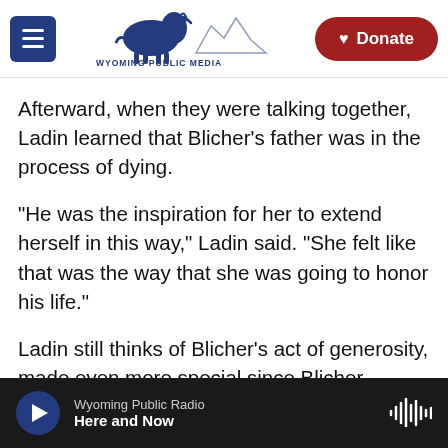Wyoming Public Media | Donate
Afterward, when they were talking together, Ladin learned that Blicher's father was in the process of dying.
"He was the inspiration for her to extend herself in this way," Ladin said. "She felt like that was the way that she was going to honor his life."
Ladin still thinks of Blicher's act of generosity, made even more special since Blicher herself was suffering.
"Her example of responding to my need and my
Wyoming Public Radio
Here and Now